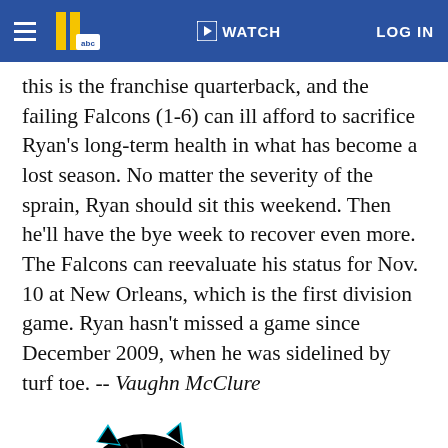WATCH | LOG IN
this is the franchise quarterback, and the failing Falcons (1-6) can ill afford to sacrifice Ryan's long-term health in what has become a lost season. No matter the severity of the sprain, Ryan should sit this weekend. Then he'll have the bye week to recover even more. The Falcons can reevaluate his status for Nov. 10 at New Orleans, which is the first division game. Ryan hasn't missed a game since December 2009, when he was sidelined by turf toe. -- Vaughn McClure
[Figure (logo): Carolina Panthers NFL team logo — black panther head with teal accents on white background]